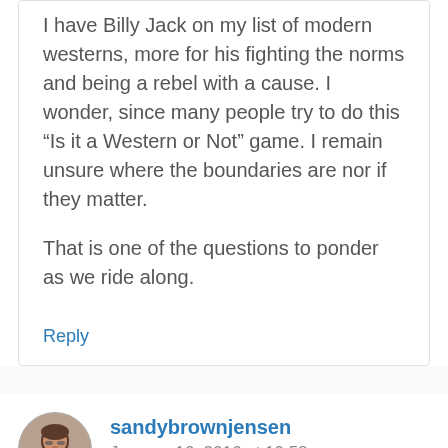I have Billy Jack on my list of modern westerns, more for his fighting the norms and being a rebel with a cause. I wonder, since many people try to do this “Is it a Western or Not” game. I remain unsure where the boundaries are nor if they matter.

That is one of the questions to ponder as we ride along.
Reply
sandybrownjensen
January 16, 2016 at 10:58 pm